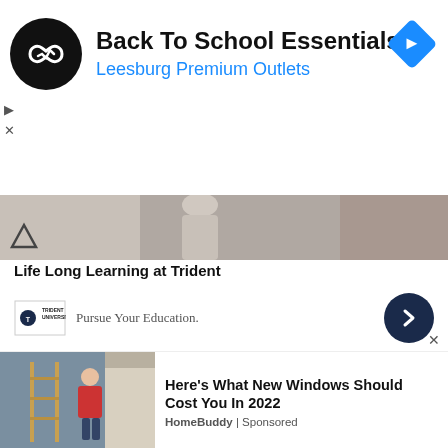[Figure (screenshot): Advertisement banner for 'Back To School Essentials' by Leesburg Premium Outlets with circular logo and diamond navigation icon]
[Figure (photo): Partial photo strip showing a person, likely a student, with a chevron/up arrow overlay]
Life Long Learning at Trident
[Figure (logo): Trident University logo with text 'Pursue Your Education.' and dark navy arrow circle button]
“You appear strong and powerful. You have an impressive personality and can influence and even intimidate through sheer force. You have natural authority. Your competence and
[Figure (screenshot): Bottom advertisement: 'Here’s What New Windows Should Cost You In 2022' by HomeBuddy | Sponsored, with photo of person on ladder installing windows]